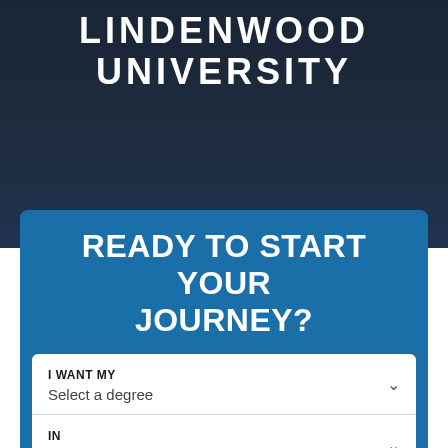LINDENWOOD UNIVERSITY
READY TO START YOUR JOURNEY?
I WANT MY
Select a degree
IN
Select a category